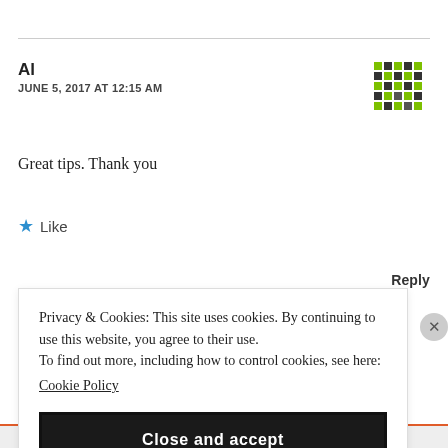Al
JUNE 5, 2017 AT 12:15 AM
[Figure (illustration): Pixel art / identicon avatar in green and dark tones]
Great tips. Thank you
★ Like
Reply
Privacy & Cookies: This site uses cookies. By continuing to use this website, you agree to their use.
To find out more, including how to control cookies, see here:
Cookie Policy
Close and accept